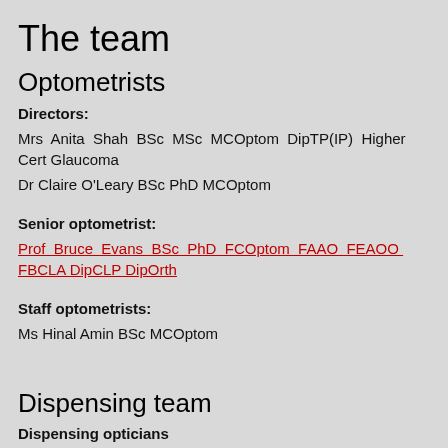The team
Optometrists
Directors:
Mrs Anita Shah BSc MSc MCOptom DipTP(IP) Higher Cert Glaucoma
Dr Claire O'Leary BSc PhD MCOptom
Senior optometrist:
Prof Bruce Evans BSc PhD FCOptom FAAO FEAOO FBCLA DipCLP DipOrth
Staff optometrists:
Ms Hinal Amin BSc MCOptom
Dispensing team
Dispensing opticians